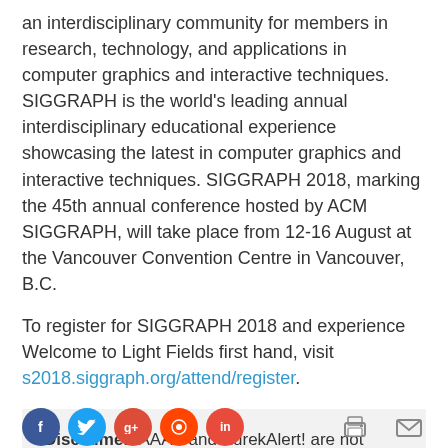an interdisciplinary community for members in research, technology, and applications in computer graphics and interactive techniques. SIGGRAPH is the world's leading annual interdisciplinary educational experience showcasing the latest in computer graphics and interactive techniques. SIGGRAPH 2018, marking the 45th annual conference hosted by ACM SIGGRAPH, will take place from 12-16 August at the Vancouver Convention Centre in Vancouver, B.C.
To register for SIGGRAPH 2018 and experience Welcome to Light Fields first hand, visit s2018.siggraph.org/attend/register.
Disclaimer: AAAS and EurekAlert! are not responsible for the accuracy of news releases posted to EurekAlert! by contributing institutions or for the use of any information through the EurekAlert system.
[Figure (other): Social media sharing icons: Facebook, Twitter, Google+, Reddit, and another icon, plus print and email utility icons]